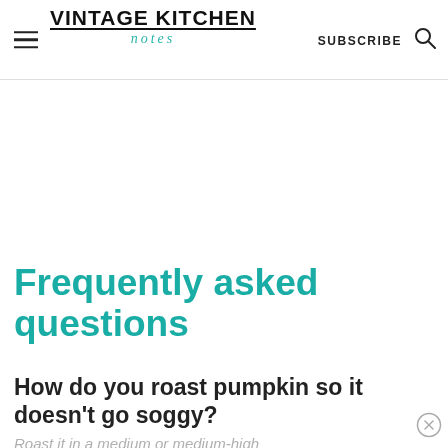VINTAGE KITCHEN — SUBSCRIBE
Frequently asked questions
How do you roast pumpkin so it doesn't go soggy?
Roast it in a medium or medium-high